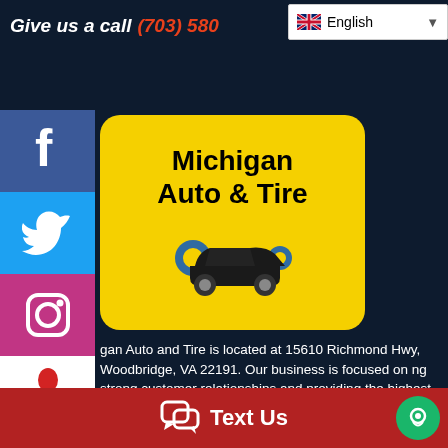Give us a call  (703) 580...
[Figure (logo): Michigan Auto & Tire logo: yellow rounded rectangle with business name and a car with wrench icon]
gan Auto and Tire is located at 15610 Richmond Hwy, Woodbridge, VA 22191. Our business is focused on ng strong customer relationships and providing the highest quality of workmanship on each and every automotive repair.
Text Us